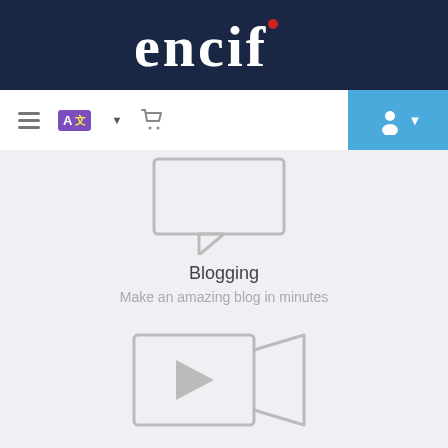[Figure (screenshot): Website header with encif logo on dark navy background]
[Figure (screenshot): Navigation bar with hamburger menu, translate button, cart icon on left; user account button on blue background on right]
[Figure (illustration): Speech bubble / chat icon in light gray outline style]
Blogging
Make an amazing blog in minutes
[Figure (illustration): Video camera icon in light gray outline style]